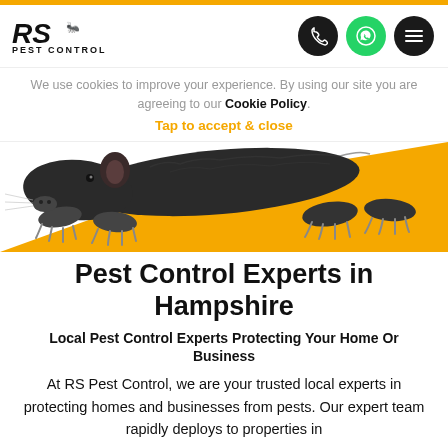[Figure (logo): RS Pest Control logo with ant icon, bold italic RS text and PEST CONTROL text below]
[Figure (infographic): Navigation header icons: phone (dark circle), WhatsApp (green circle), hamburger menu (dark circle)]
We use cookies to improve your experience. By using our site you are agreeing to our Cookie Policy. Tap to accept & close
[Figure (photo): Close-up photo of a rat/mole from below on white and yellow diagonal background]
Pest Control Experts in Hampshire
Local Pest Control Experts Protecting Your Home Or Business
At RS Pest Control, we are your trusted local experts in protecting homes and businesses from pests. Our expert team rapidly deploys to properties in